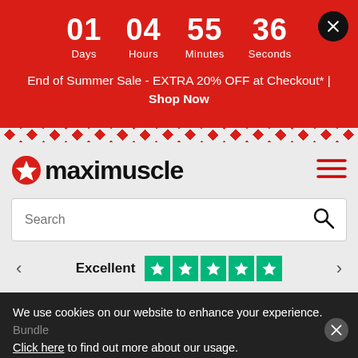[Figure (screenshot): Countdown timer showing 01 Days, 04 Hours, 55 Minutes, 36 Seconds on red background]
End of Summer Sale - EXTRA 20% OFF at Checkout* | Shop Now
[Figure (logo): Maximuscle logo with red star icon and black text]
[Figure (screenshot): Search bar with placeholder text 'Search' and magnifying glass icon]
Excellent [5 green Trustpilot stars]
We use cookies on our website to enhance your experience. Bundle Click here to find out more about our usage.